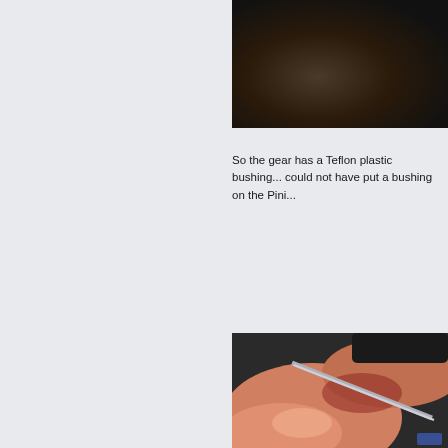[Figure (photo): Close-up photo of dark black rubber or leather material, possibly a gear or mechanical part with dark textured surface]
So the gear has a Teflon plastic bushing... could not have put a bushing on the Pini...
[Figure (photo): Close-up photo of fingers handling a small mechanical component, appears to be a person holding or inserting a small pin or bushing into a dark rubber/gear part]